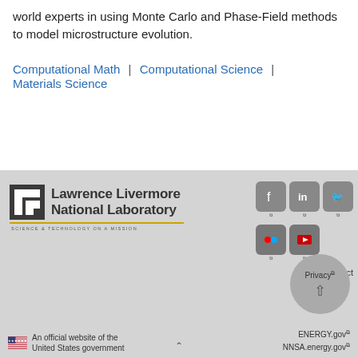world experts in using Monte Carlo and Phase-Field methods to model microstructure evolution.
Computational Math | Computational Science | Materials Science
[Figure (logo): Lawrence Livermore National Laboratory logo with bracket mark, name, gold rule, and tagline 'SCIENCE & TECHNOLOGY ON A MISSION']
[Figure (infographic): Social media icons: Facebook, LinkedIn, Twitter (top row), Flickr, YouTube (second row), with external link indicators, Contact text, and a circular Privacy/scroll-up button]
An official website of the United States government
ENERGY.gov
NNSA.energy.gov